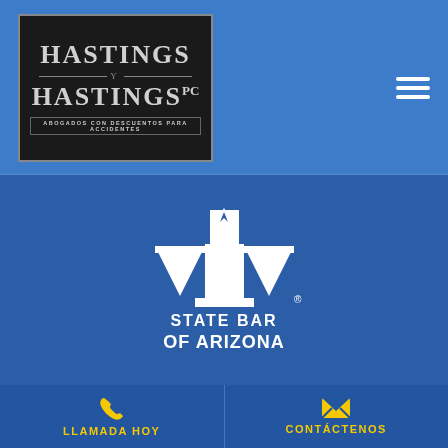[Figure (logo): Hastings y Hastings PC law firm logo — dark background with serif text and 'ABOGADOS CON DESCUENTOS PARA ACCIDENTES' subtitle]
[Figure (logo): State Bar of Arizona logo — white scales of justice icon with 'STATE BAR OF ARIZONA' text on blue background]
LLAMADA HOY
CONTÁCTENOS